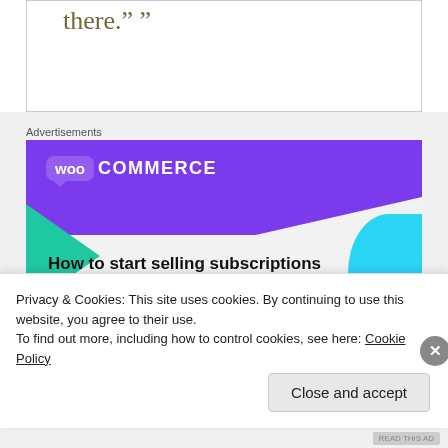there.” ”
Advertisements
[Figure (screenshot): WooCommerce advertisement banner with purple header, teal triangle, blue arc, headline 'How to start selling subscriptions online', and a purple 'Start a new store' button]
Privacy & Cookies: This site uses cookies. By continuing to use this website, you agree to their use.
To find out more, including how to control cookies, see here: Cookie Policy
Close and accept